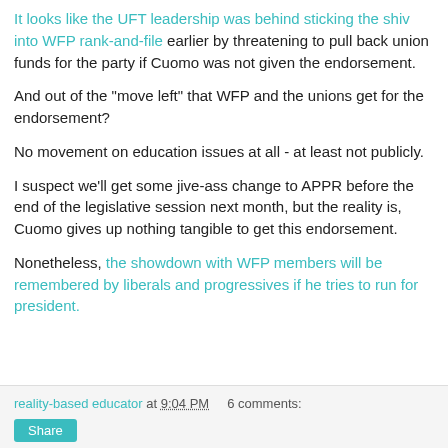It looks like the UFT leadership was behind sticking the shiv into WFP rank-and-file earlier by threatening to pull back union funds for the party if Cuomo was not given the endorsement.
And out of the "move left" that WFP and the unions get for the endorsement?
No movement on education issues at all - at least not publicly.
I suspect we'll get some jive-ass change to APPR before the end of the legislative session next month, but the reality is, Cuomo gives up nothing tangible to get this endorsement.
Nonetheless, the showdown with WFP members will be remembered by liberals and progressives if he tries to run for president.
reality-based educator at 9:04 PM    6 comments: